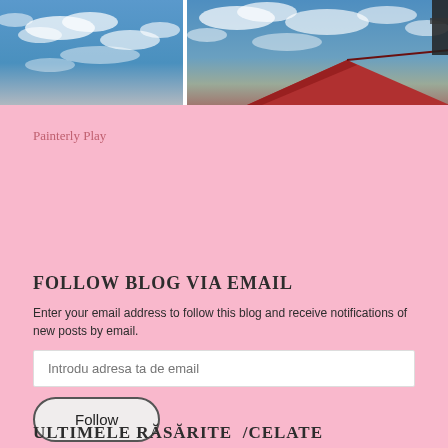[Figure (photo): Two side-by-side photos of sky with clouds; right photo also shows rooftop with red tiles and a dark structure]
Painterly Play
FOLLOW BLOG VIA EMAIL
Enter your email address to follow this blog and receive notifications of new posts by email.
Introdu adresa ta de email
Follow
ULTIMELE RĂSĂRITE /CELATE